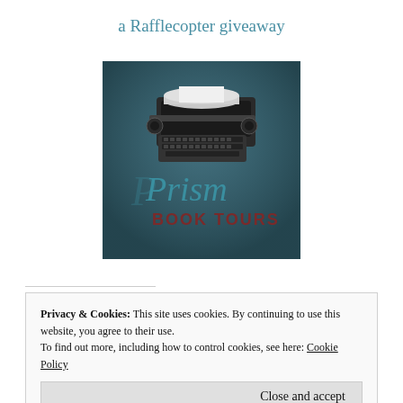a Rafflecopter giveaway
[Figure (logo): Prism Book Tours logo featuring a vintage typewriter on a dark teal background with 'Prism' in teal cursive script and 'BOOK TOURS' in dark red bold text below]
Privacy & Cookies: This site uses cookies. By continuing to use this website, you agree to their use.
To find out more, including how to control cookies, see here: Cookie Policy
Close and accept